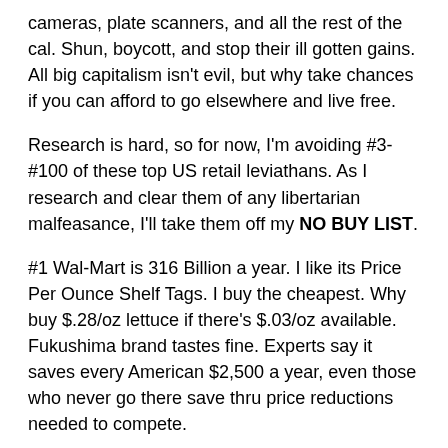cameras, plate scanners, and all the rest of the cal. Shun, boycott, and stop their ill gotten gains. All big capitalism isn't evil, but why take chances if you can afford to go elsewhere and live free.
Research is hard, so for now, I'm avoiding #3-#100 of these top US retail leviathans. As I research and clear them of any libertarian malfeasance, I'll take them off my NO BUY LIST.
#1 Wal-Mart is 316 Billion a year. I like its Price Per Ounce Shelf Tags. I buy the cheapest. Why buy $.28/oz lettuce if there's $.03/oz available. Fukushima brand tastes fine. Experts say it saves every American $2,500 a year, even those who never go there save thru price reductions needed to compete.